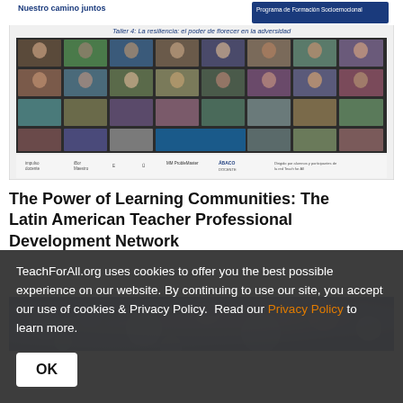[Figure (screenshot): Screenshot of a Zoom video call with many participants showing a workshop titled 'Nuestro camino juntos - Taller 4: La resiliencia: el poder de florecer en la adversidad' with the Programa de Formación Socioemocional branding and multiple organization logos at the bottom.]
The Power of Learning Communities: The Latin American Teacher Professional Development Network
[Figure (photo): Partial view of a photo with blue bokeh lights background]
TeachForAll.org uses cookies to offer you the best possible experience on our website. By continuing to use our site, you accept our use of cookies & Privacy Policy. Read our Privacy Policy to learn more.